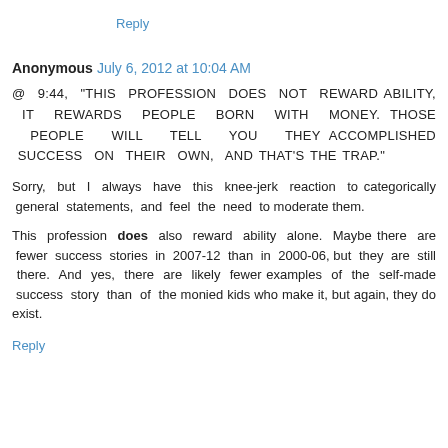Reply
Anonymous  July 6, 2012 at 10:04 AM
@ 9:44, "THIS PROFESSION DOES NOT REWARD ABILITY, IT REWARDS PEOPLE BORN WITH MONEY. THOSE PEOPLE WILL TELL YOU THEY ACCOMPLISHED SUCCESS ON THEIR OWN, AND THAT'S THE TRAP."
Sorry, but I always have this knee-jerk reaction to categorically general statements, and feel the need to moderate them.
This profession does also reward ability alone. Maybe there are fewer success stories in 2007-12 than in 2000-06, but they are still there. And yes, there are likely fewer examples of the self-made success story than of the monied kids who make it, but again, they do exist.
Reply